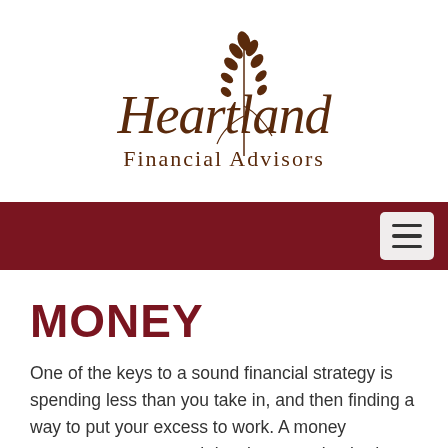[Figure (logo): Heartland Financial Advisors logo with wheat stalk illustration and cursive/serif text]
MONEY
One of the keys to a sound financial strategy is spending less than you take in, and then finding a way to put your excess to work. A money management approach involves creating budgets to understand and